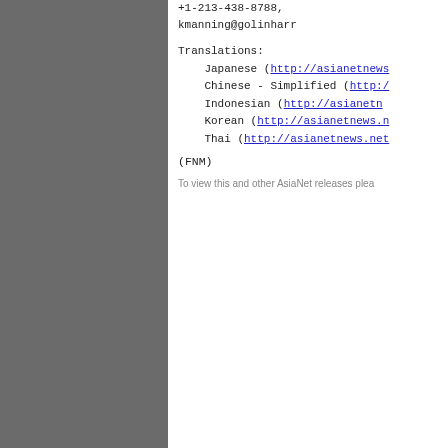+1-213-438-8788,
kmanning@golinharr
Translations:
    Japanese (http://asianetnews
    Chinese - Simplified (http:/
    Indonesian (http://asianetn
    Korean (http://asianetnews.n
    Thai (http://asianetnews.net
(FNM)
To view this and other AsiaNet releases plea